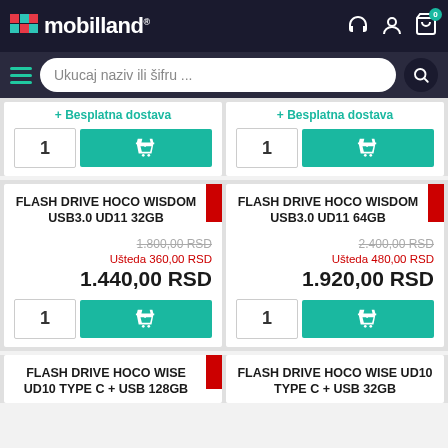mobilland
Ukucaj naziv ili šifru ...
+ Besplatna dostava (top left partial card)
+ Besplatna dostava (top right partial card)
FLASH DRIVE HOCO WISDOM USB3.0 UD11 32GB
1.800,00 RSD (old price)
Ušteda 360,00 RSD
1.440,00 RSD
FLASH DRIVE HOCO WISDOM USB3.0 UD11 64GB
2.400,00 RSD (old price)
Ušteda 480,00 RSD
1.920,00 RSD
FLASH DRIVE HOCO WISE UD10 TYPE C + USB 128GB
FLASH DRIVE HOCO WISE UD10 TYPE C + USB 32GB